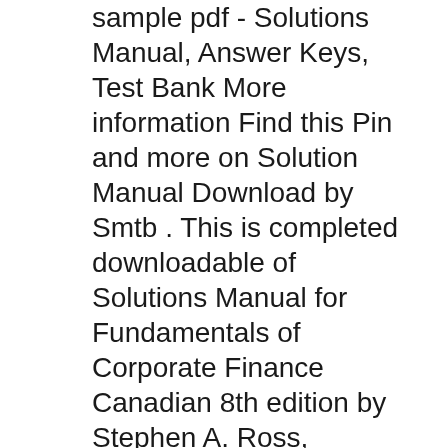sample pdf - Solutions Manual, Answer Keys, Test Bank More information Find this Pin and more on Solution Manual Download by Smtb . This is completed downloadable of Solutions Manual for Fundamentals of Corporate Finance Canadian 8th edition by Stephen A. Ross, Randolph W Westerfield, Bradford D Jordan, Gordon Roberts Instant download Solutions Manual for Fundamentals of Corporate Finance Canadian 8th edition by Stephen A. Ross, Randolph W Westerfield, Bradford D Jordan, Gordon Roberts after payment
26/12/2016B B· Click to free download sample: Test Bank for Corporate Finance 11th Edition Ross Westerfield Jaffe